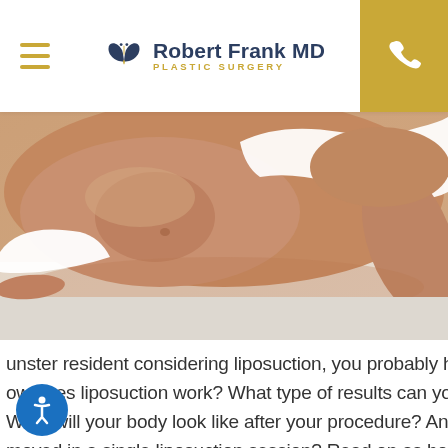Robert Frank MD Plastic Surgery
[Figure (photo): Woman in white bikini lying down, showing toned abdomen and torso, liposuction before/after context image]
…unster resident considering liposuction, you probably hav… ow does liposuction work? What type of results can you e… What will your body look like after your procedure? And… moved in a single liposuction session? Read on as board c… ry D… ank of Munster's Robert Frank Plastic Surgery ar…